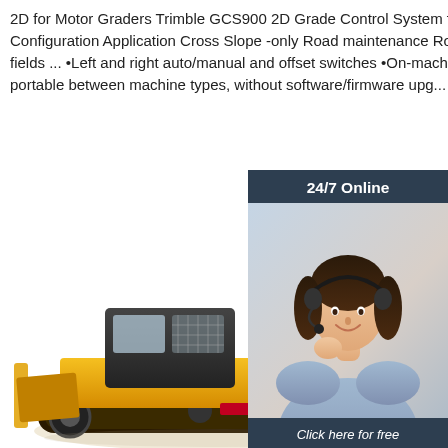2D for Motor Graders Trimble GCS900 2D Grade Control System for Motor Graders Configuration Application Cross Slope -only Road maintenance Road construction Sports fields ... •Left and right auto/manual and offset switches •On-machine components are portable between machine types, without software/firmware upg...
[Figure (photo): Customer service representative with headset, '24/7 Online' header banner, 'Click here for free chat!' text, and orange QUOTATION button — a live chat widget overlay on the right side of the page.]
Get Price
[Figure (photo): Yellow bulldozer / motor grader construction machine photographed from the side, showing cab, blade, and tracks. White background.]